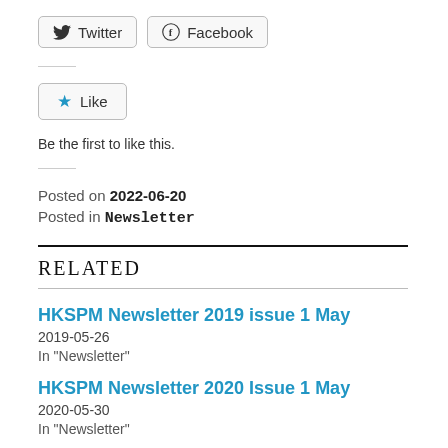Twitter  Facebook (share buttons)
[Figure (other): Like button widget with star icon]
Be the first to like this.
Posted on 2022-06-20
Posted in Newsletter
RELATED
HKSPM Newsletter 2019 issue 1 May
2019-05-26
In "Newsletter"
HKSPM Newsletter 2020 Issue 1 May
2020-05-30
In "Newsletter"